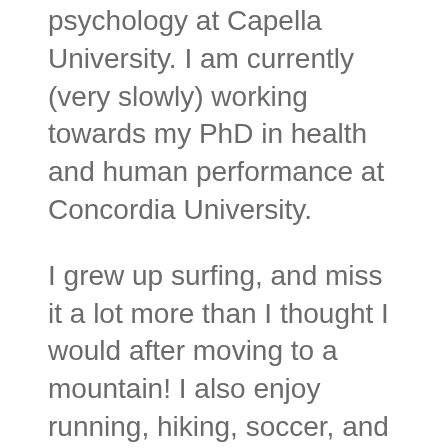psychology at Capella University. I am currently (very slowly) working towards my PhD in health and human performance at Concordia University.
I grew up surfing, and miss it a lot more than I thought I would after moving to a mountain! I also enjoy running, hiking, soccer, and travelling when I can. I married “Mrs. Julie” in 2019, and between my family, dogs, and job I could not be happier!
As a physical education teacher, my overall goal is to set students up for a